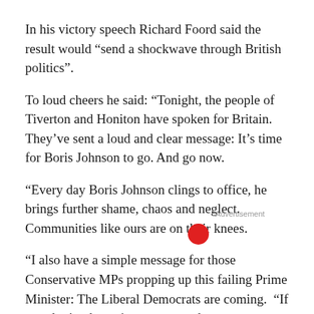In his victory speech Richard Foord said the result would “send a shockwave through British politics”.
To loud cheers he said: “Tonight, the people of Tiverton and Honiton have spoken for Britain. They’ve sent a loud and clear message: It’s time for Boris Johnson to go. And go now.
“Every day Boris Johnson clings to office, he brings further shame, chaos and neglect. Communities like ours are on their knees.
“I also have a simple message for those Conservative MPs propping up this failing Prime Minister: The Liberal Democrats are coming.  “If you don’t take action to restore decency, respect and British values to Downing Street, you too will face election defeats like the one we have seen here tonight.